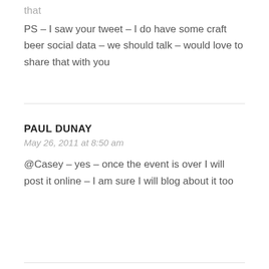that
PS – I saw your tweet – I do have some craft beer social data – we should talk – would love to share that with you
PAUL DUNAY
May 26, 2011 at 8:50 am
@Casey – yes – once the event is over I will post it online – I am sure I will blog about it too